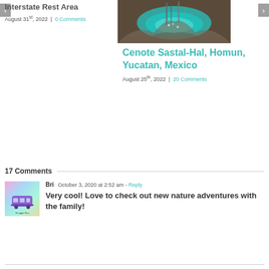Interstate Rest Area
August 31st, 2022  |  0 Comments
[Figure (photo): Aerial view of a cenote with turquoise water surrounded by rock formations]
Cenote Sastal-Hal, Homun, Yucatan, Mexico
August 25th, 2022  |  20 Comments
17 Comments
[Figure (photo): Avatar image with colorful gradient background and a bus icon with text 'Struggle Bus']
Bri  October 3, 2020 at 2:52 am - Reply
Very cool! Love to check out new nature adventures with the family!